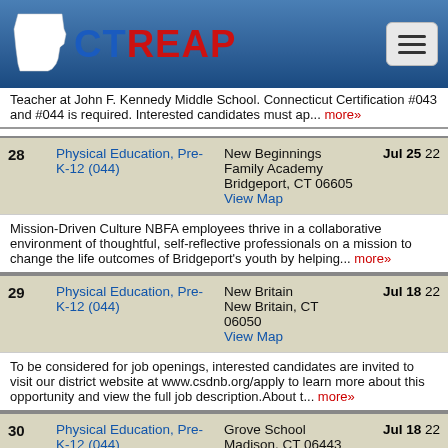CTREAP
Teacher at John F. Kennedy Middle School. Connecticut Certification #043 and #044 is required. Interested candidates must ap... more»
| # | Job | Organization | Date |
| --- | --- | --- | --- |
| 28 | Physical Education, Pre-K-12 (044) | New Beginnings Family Academy
Bridgeport, CT 06605
View Map | Jul 25 22 |
| 29 | Physical Education, Pre-K-12 (044) | New Britain
New Britain, CT 06050
View Map | Jul 18 22 |
| 30 | Physical Education, Pre-K-12 (044) | Grove School
Madison, CT 06443
View Map | Jul 18 22 |
| 31 | Classroom Teacher | Bristol Public Schools | Jul 15 22 |
Mission-Driven Culture NBFA employees thrive in a collaborative environment of thoughtful, self-reflective professionals on a mission to change the life outcomes of Bridgeport's youth by helping... more»
To be considered for job openings, interested candidates are invited to visit our district website at www.csdnb.org/apply to learn more about this opportunity and view the full job description.About t... more»
We are seeking a Physical Education & Health teacher for an open position at our small school in Madison, CT. This is a live-in role and it involves teaching and residential responsibilities... more»